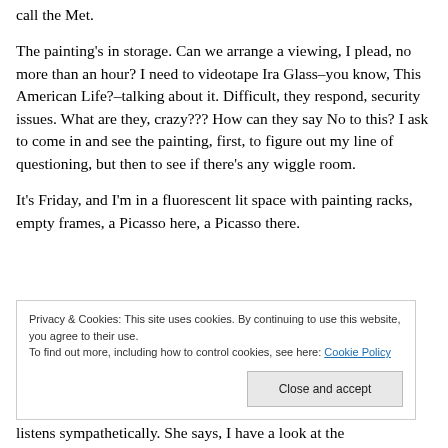call the Met.
The painting's in storage. Can we arrange a viewing, I plead, no more than an hour? I need to videotape Ira Glass–you know, This American Life?–talking about it. Difficult, they respond, security issues. What are they, crazy??? How can they say No to this? I ask to come in and see the painting, first, to figure out my line of questioning, but then to see if there's any wiggle room.
It's Friday, and I'm in a fluorescent lit space with painting racks, empty frames, a Picasso here, a Picasso there.
Privacy & Cookies: This site uses cookies. By continuing to use this website, you agree to their use.
To find out more, including how to control cookies, see here: Cookie Policy
listens sympathetically. She says, I have a look at the